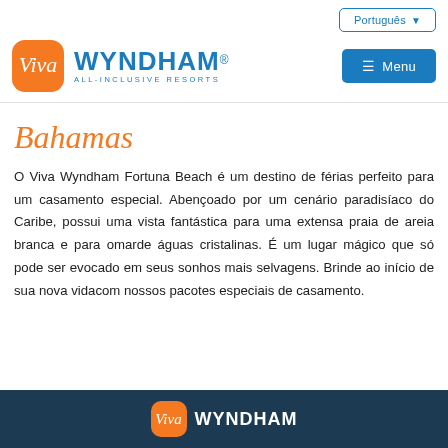Português ▼
[Figure (logo): Viva Wyndham All-Inclusive Resorts logo with orange Viva badge and blue Wyndham text]
Bahamas
O Viva Wyndham Fortuna Beach é um destino de férias perfeito para um casamento especial. Abençoado por um cenário paradisíaco do Caribe, possui uma vista fantástica para uma extensa praia de areia branca e para omarde águas cristalinas. É um lugar mágico que só pode ser evocado em seus sonhos mais selvagens. Brinde ao início de sua nova vidacom nossos pacotes especiais de casamento.
Viva Wyndham (footer logo)